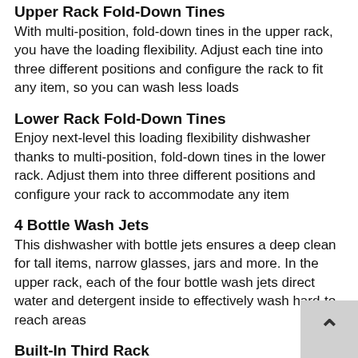Upper Rack Fold-Down Tines
With multi-position, fold-down tines in the upper rack, you have the loading flexibility. Adjust each tine into three different positions and configure the rack to fit any item, so you can wash less loads
Lower Rack Fold-Down Tines
Enjoy next-level this loading flexibility dishwasher thanks to multi-position, fold-down tines in the lower rack. Adjust them into three different positions and configure your rack to accommodate any item
4 Bottle Wash Jets
This dishwasher with bottle jets ensures a deep clean for tall items, narrow glasses, jars and more. In the upper rack, each of the four bottle wash jets direct water and detergent inside to effectively wash hard-to-reach areas
Built-In Third Rack
This dishwasher with third rack storage lets you easily clean more items in fewer loads. It gives you extra loading flexibility with a place to wash and